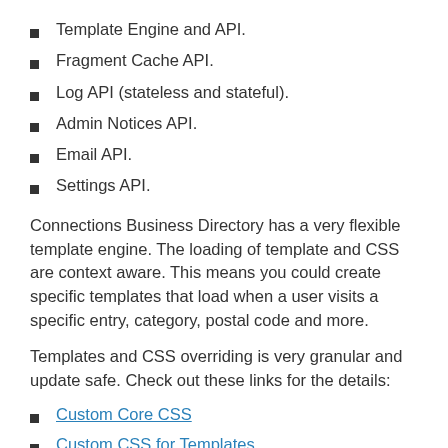Template Engine and API.
Fragment Cache API.
Log API (stateless and stateful).
Admin Notices API.
Email API.
Settings API.
Connections Business Directory has a very flexible template engine. The loading of template and CSS are context aware. This means you could create specific templates that load when a user visits a specific entry, category, postal code and more.
Templates and CSS overriding is very granular and update safe. Check out these links for the details:
Custom Core CSS
Custom CSS for Templates
Custom Template Override File